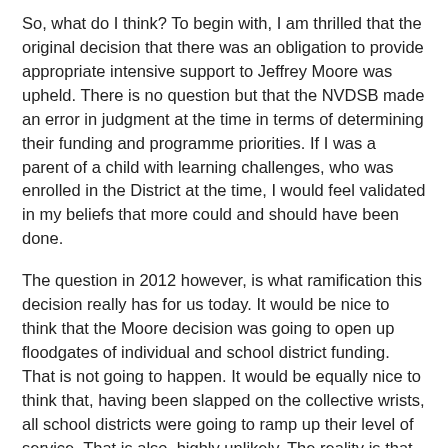So, what do I think? To begin with, I am thrilled that the original decision that there was an obligation to provide appropriate intensive support to Jeffrey Moore was upheld. There is no question but that the NVDSB made an error in judgment at the time in terms of determining their funding and programme priorities. If I was a parent of a child with learning challenges, who was enrolled in the District at the time, I would feel validated in my beliefs that more could and should have been done.
The question in 2012 however, is what ramification this decision really has for us today. It would be nice to think that the Moore decision was going to open up floodgates of individual and school district funding. That is not going to happen. It would be equally nice to think that, having been slapped on the collective wrists, all school districts were going to ramp up their level of service. That is also, highly unlikely. The reality is that most school districts and probably the Ministry will take a “that was then, this is now” approach and assert that the quality of programmes and services have improved significantly in the last fifteen years. Two key issues that will frame this response will be the fact that the Supreme Court did not find “systemic” discrimination – in